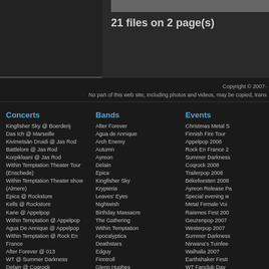21 files on 2 page(s)
Copyright © 2007-
No part of this web site, including photos and videos, may be copied, trans
Concerts
Kingfisher Sky @ Boerderij
Das Ich @ Marseille
Kivimetsän Druidi @ Jas Rod
Battlelore @ Jas Rod
Korpiklaani @ Jas Rod
Within Temptation Theater Tour (Enschede)
Within Temptation Theater show (Almere)
Epica @ Rockstore
Kells @ Rockstore
Kane @ Appelpop
Within Temptation @ Appelpop
Agua De Annique @ Appelpop
Within Temptation @ Rock En France
After Forever @ 013
WT @ Summer Darkness
Delain @ Coqrock
Star Industry @ Coqrock
Vegas For Millions @ Trailerpop
Delain @ Trailerpop
Silkstone @ Trailerpop
Five Last Words @ Trailerpop
WT @ Békefeesten
Delain @ Békefeesten
GTE @ Békefeesten
Kingfisher Sky @ Boerderij
CUE @ Boerderij
Epica @ Tivoli
Delain @ Tivoli
Agua de Annique @ Lille
Agua de Annique @ La Loco
Arch Enemy @ Le Bataclan
Bands
After Forever
Agua de Annique
Arch Enemy
Autumn
Ayreon
Delain
Epica
Kingfisher Sky
Krypteria
Leaves' Eyes
Nightwish
Birthday Massacre
The Gathering
Within Temptation
Apocalyptica
Deathstars
Edguy
Finntroll
Glenn Hughes
Gotthard
In Extremo
Lordi
Sonata Arctica
The 69 Eyes
Kane
Dagoba
Korpiklaani
All Bands
Events
Christmas Metal S
Finnish Fire Tour
Appelpop 2008
Rock En France 2
Summer Darkness
Coqrock 2008
Trailerpop 2008
Békefeesten 2008
Ayreon Release Pa
Special evening w
Metal Female Voi
Raismes Fest 200
Geuzenpop 2007
Westerpop 2007
Summer Darkness
Nirwana's Tuinfee
Walhalla 2007
Earthshaker Festi
WT Fanclub Day
Trailerpop 2007
Artefacts Festival
Appelpop 2006
M'era Luna 2006
Lokerse Feesten 2
Evolution Festival
WT Fanclub Day
Graspop Metal M
Békefeesten 2006
Wacken Open Air
Evolution Festival